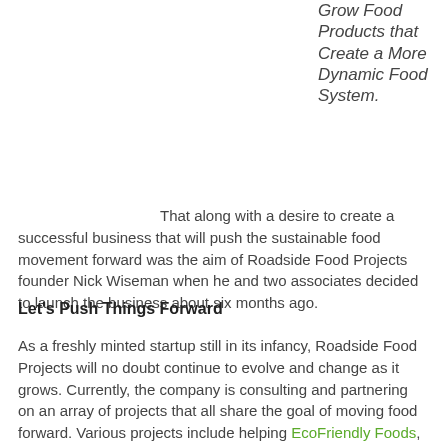Grow Food Products that Create a More Dynamic Food System.
That along with a desire to create a successful business that will push the sustainable food movement forward was the aim of Roadside Food Projects founder Nick Wiseman when he and two associates decided to launch the business about six months ago.
Let's Push Things Forward
As a freshly minted startup still in its infancy, Roadside Food Projects will no doubt continue to evolve and change as it grows. Currently, the company is consulting and partnering on an array of projects that all share the goal of moving food forward. Various projects include helping EcoFriendly Foods, a well-known purveyor of pasture raised meats, expand its